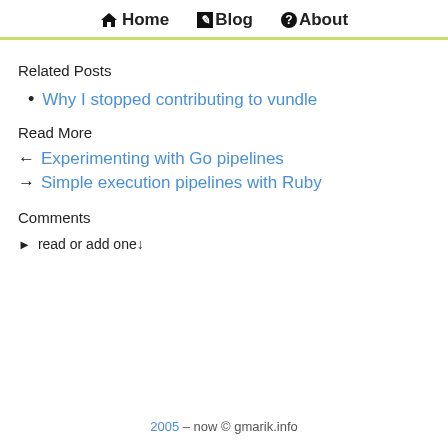Home Blog About
Related Posts
Why I stopped contributing to vundle
Read More
← Experimenting with Go pipelines
→ Simple execution pipelines with Ruby
Comments
► read or add one↓
2005 – now © gmarik.info